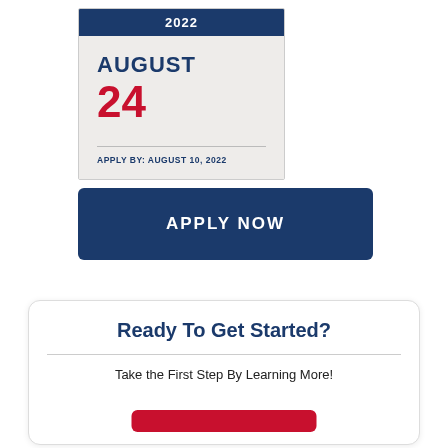[Figure (other): Calendar widget showing 2022, August 24, with Apply By: August 10, 2022]
APPLY NOW
Ready To Get Started?
Take the First Step By Learning More!